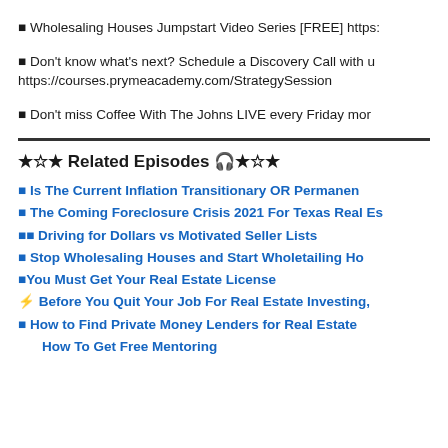🔹 Wholesaling Houses Jumpstart Video Series [FREE] https://...
🔹 Don't know what's next? Schedule a Discovery Call with us https://courses.prymeacademy.com/StrategySession
🔹 Don't miss Coffee With The Johns LIVE every Friday mor...
★☆★ Related Episodes 🎧★☆★
🔹 Is The Current Inflation Transitionary OR Permanent...
🔹 The Coming Foreclosure Crisis 2021 For Texas Real Es...
🔹🔹 Driving for Dollars vs Motivated Seller Lists
🔹 Stop Wholesaling Houses and Start Wholetailing Ho...
🔹You Must Get Your Real Estate License
⚡ Before You Quit Your Job For Real Estate Investing,...
🔹 How to Find Private Money Lenders for Real Estate...
How To Get Free Mentoring